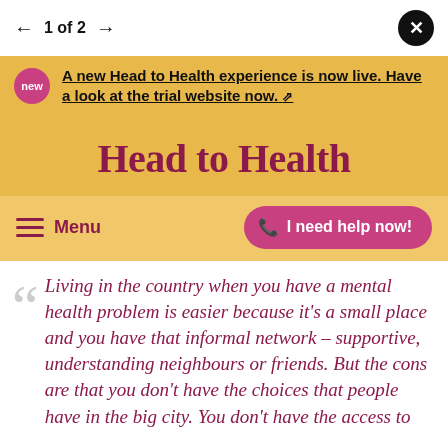← 1 of 2 →
A new Head to Head experience is now live. Have a look at the trial website now. [external link]
Head to Health
Menu | I need help now!
Living in the country when you have a mental health problem is easier because it's a small place and you have that informal network – supportive, understanding neighbours or friends. But the cons are that you don't have the choices that people have in the big city. You don't have the access to